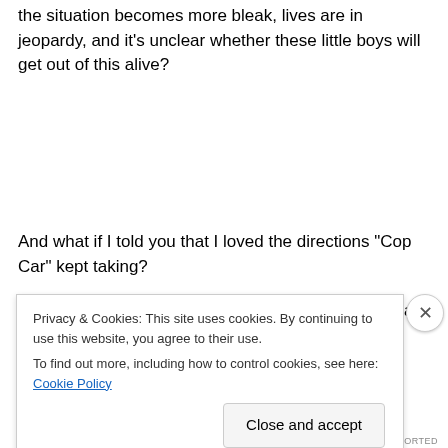the situation becomes more bleak, lives are in jeopardy, and it's unclear whether these little boys will get out of this alive?
And what if I told you that I loved the directions “Cop Car” kept taking?
This kid’s joyride story takes a dark, disturbing turn as the boys start playing with the artillery left in the backseat
Privacy & Cookies: This site uses cookies. By continuing to use this website, you agree to their use.
To find out more, including how to control cookies, see here: Cookie Policy
Close and accept